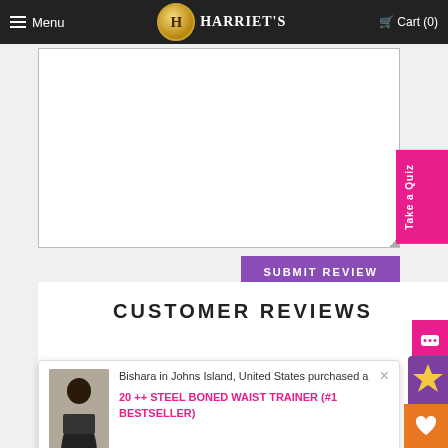Menu | Harriet's | Cart (0)
[Figure (screenshot): Text area input field for review submission]
SUBMIT REVIEW
Take a Quiz
CUSTOMER REVIEWS
Bishara in Johns Island, United States purchased a 20 ++ STEEL BONED WAIST TRAINER (#1 BESTSELLER)